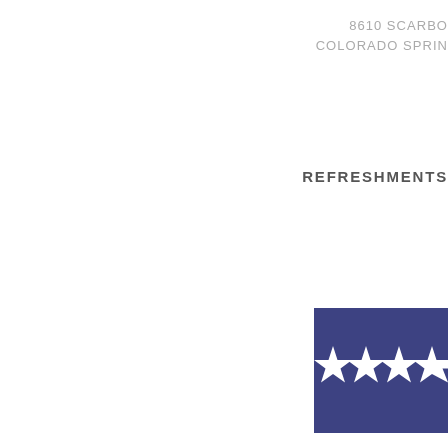8610 SCARBO
COLORADO SPRIN
REFRESHMENTS
[Figure (illustration): Navy blue banner with white five-pointed stars arranged in a row, partially cropped on the right side. Five full stars visible.]
[Figure (photo): Black and white photograph of a young person with short blonde hair and black-rimmed glasses, photographed against a dark background. The image is cropped showing the upper body/face area.]